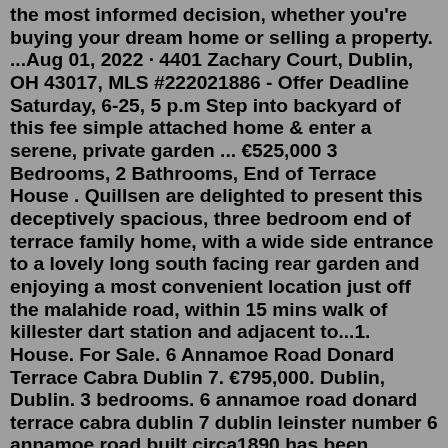the most informed decision, whether you're buying your dream home or selling a property. ...Aug 01, 2022 · 4401 Zachary Court, Dublin, OH 43017, MLS #222021886 - Offer Deadline Saturday, 6-25, 5 p.m Step into backyard of this fee simple attached home & enter a serene, private garden ... €525,000 3 Bedrooms, 2 Bathrooms, End of Terrace House . Quillsen are delighted to present this deceptively spacious, three bedroom end of terrace family home, with a wide side entrance to a lovely long south facing rear garden and enjoying a most convenient location just off the malahide road, within 15 mins walk of killester dart station and adjacent to...1. House. For Sale. 6 Annamoe Road Donard Terrace Cabra Dublin 7. €795,000. Dublin, Dublin. 3 bedrooms. 6 annamoe road donard terrace cabra dublin 7 dublin leinster number 6 annamoe road built circa1890 has been beautifully restored extended and redesigned proudly... 13 hours ago in Easyavvisi. 11259 Cedar Crest Drive. This gorgeous new construction home is